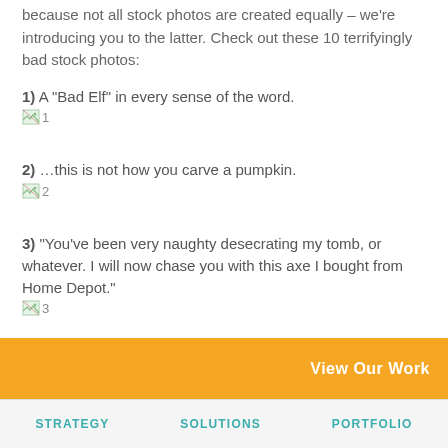because not all stock photos are created equally – we're introducing you to the latter. Check out these 10 terrifyingly bad stock photos:
1) A "Bad Elf" in every sense of the word.
[Figure (photo): Broken image placeholder labeled 1]
2) ...this is not how you carve a pumpkin.
[Figure (photo): Broken image placeholder labeled 2]
3) "You've been very naughty desecrating my tomb, or whatever. I will now chase you with this axe I bought from Home Depot."
[Figure (photo): Broken image placeholder labeled 3]
View Our Work
STRATEGY   SOLUTIONS   PORTFOLIO